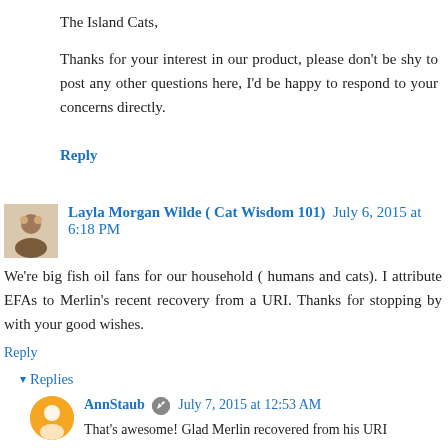The Island Cats,
Thanks for your interest in our product, please don't be shy to post any other questions here, I'd be happy to respond to your concerns directly.
Reply
Layla Morgan Wilde ( Cat Wisdom 101) July 6, 2015 at 6:18 PM
We're big fish oil fans for our household ( humans and cats). I attribute EFAs to Merlin's recent recovery from a URI. Thanks for stopping by with your good wishes.
Reply
Replies
AnnStaub July 7, 2015 at 12:53 AM
That's awesome! Glad Merlin recovered from his URI